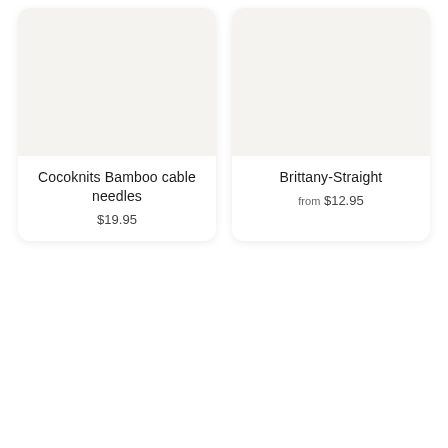[Figure (photo): Product card for Cocoknits Bamboo cable needles showing a light cream/off-white product image placeholder at top, product name 'Cocoknits Bamboo cable needles' and price '$19.95' below]
Cocoknits Bamboo cable needles
$19.95
[Figure (photo): Product card for Brittany-Straight showing a light cream/off-white product image placeholder at top, product name 'Brittany-Straight' and price 'from $12.95' below]
Brittany-Straight
from $12.95